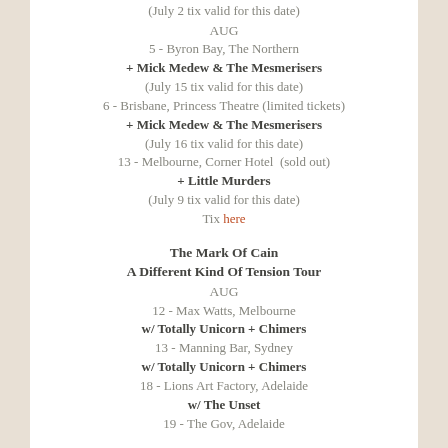(July 2 tix valid for this date)
AUG
5 - Byron Bay, The Northern
+ Mick Medew & The Mesmerisers
(July 15 tix valid for this date)
6 - Brisbane, Princess Theatre (limited tickets)
+ Mick Medew & The Mesmerisers
(July 16 tix valid for this date)
13 - Melbourne, Corner Hotel  (sold out)
+ Little Murders
(July 9 tix valid for this date)
Tix here
The Mark Of Cain
A Different Kind Of Tension Tour
AUG
12 - Max Watts, Melbourne
w/ Totally Unicorn + Chimers
13 - Manning Bar, Sydney
w/ Totally Unicorn + Chimers
18 - Lions Art Factory, Adelaide
w/ The Unset
19 - The Gov, Adelaide